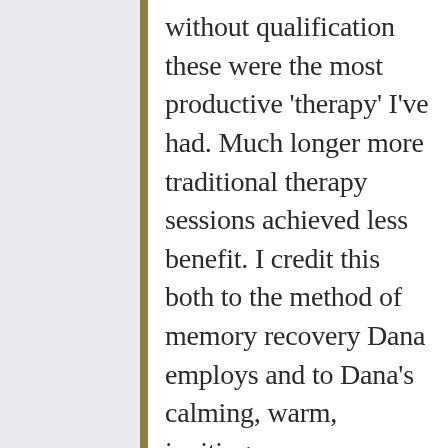without qualification these were the most productive 'therapy' I've had. Much longer more traditional therapy sessions achieved less benefit. I credit this both to the method of memory recovery Dana employs and to Dana's calming, warm, inviting, non-judgmental engagement with me as a client, which by disarming defenses enabled me to